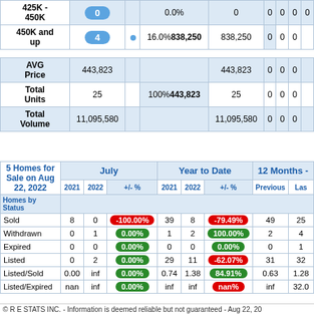| Price Range | Units |  | % Share | Avg Price | Avg Price | Units | Volume | Seller Conc | Buyer Conc |
| --- | --- | --- | --- | --- | --- | --- | --- | --- | --- |
| 425K - 450K | 0 |  | 0.0% | 0 | 0 | 0 | 0 | 0 | 0 |
| 450K and up | 4 | ● | 16.0% | 838,250 | 838,250 | 0 | 0 | 0 | 0 |
| AVG Price | 443,823 |  |  |  | 443,823 | 0 | 0 | 0 | 0 |
| Total Units | 25 |  | 100% | 443,823 | 25 | 0 | 0 | 0 | 0 |
| Total Volume | 11,095,580 |  |  |  | 11,095,580 | 0 | 0 | 0 | 0 |
| 5 Homes for Sale on Aug 22, 2022 / Homes by Status | July 2021 | July 2022 | +/- % | YTD 2021 | YTD 2022 | +/- % | 12M Previous | 12M Last |
| --- | --- | --- | --- | --- | --- | --- | --- | --- |
| Sold | 8 | 0 | -100.00% | 39 | 8 | -79.49% | 49 | 25 |
| Withdrawn | 0 | 1 | 0.00% | 1 | 2 | 100.00% | 2 | 4 |
| Expired | 0 | 0 | 0.00% | 0 | 0 | 0.00% | 0 | 1 |
| Listed | 0 | 2 | 0.00% | 29 | 11 | -62.07% | 31 | 32 |
| Listed/Sold | 0.00 | inf | 0.00% | 0.74 | 1.38 | 84.91% | 0.63 | 1.28 |
| Listed/Expired | nan | inf | 0.00% | inf | inf | nan% | inf | 32.0 |
© R E STATS INC. - Information is deemed reliable but not guaranteed - Aug 22, 20...